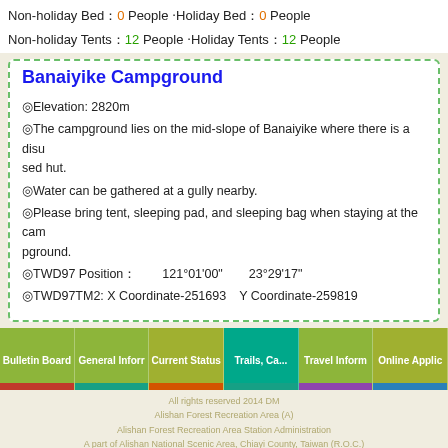Non-holiday Bed：0 People ‧Holiday Bed：0 People
Non-holiday Tents：12 People ‧Holiday Tents：12 People
Banaiyike Campground
◎Elevation: 2820m
◎The campground lies on the mid-slope of Banaiyike where there is a disused hut.
◎Water can be gathered at a gully nearby.
◎Please bring tent, sleeping pad, and sleeping bag when staying at the campground.
◎TWD97 Position：　　121°01'00"　　23°29'17"
◎TWD97TM2: X Coordinate-251693　Y Coordinate-259819
[Figure (screenshot): Navigation bar with tabs: Bulletin Board, General Inform, Current Status, Trails Ca... (active/highlighted in teal), Travel Inform, Online Applic. Each tab has a colored bottom accent bar.]
All rights reserved 2014 DM
Alishan Forest Recreation Area (A)
Alishan Forest Recreation Area Station Administration
A part of Alishan National Scenic Area, Chiayi County, Taiwan (R.O.C.)
All rights reserved. PC  Chinese  Japanese  :::